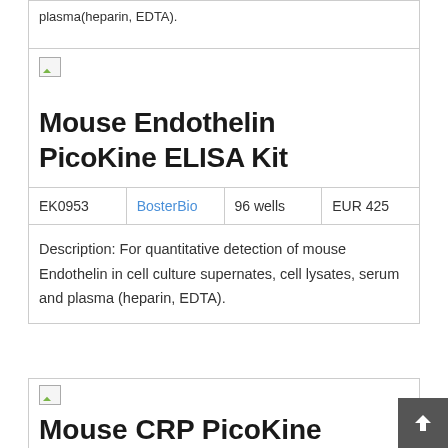plasma(heparin, EDTA).
[Figure (photo): Broken image placeholder for Mouse Endothelin PicoKine ELISA Kit product image]
Mouse Endothelin PicoKine ELISA Kit
| EK0953 | BosterBio | 96 wells | EUR 425 |
| --- | --- | --- | --- |
Description: For quantitative detection of mouse Endothelin in cell culture supernates, cell lysates, serum and plasma (heparin, EDTA).
[Figure (photo): Broken image placeholder for Mouse CRP PicoKine product image]
Mouse CRP PicoKine